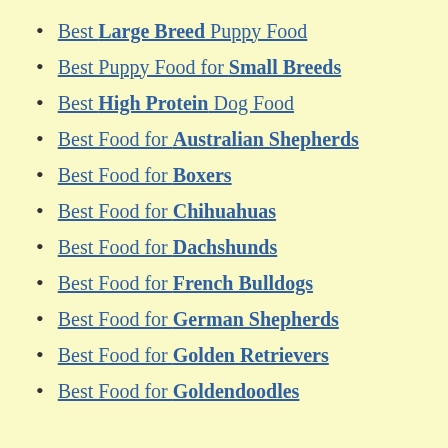Best Large Breed Puppy Food
Best Puppy Food for Small Breeds
Best High Protein Dog Food
Best Food for Australian Shepherds
Best Food for Boxers
Best Food for Chihuahuas
Best Food for Dachshunds
Best Food for French Bulldogs
Best Food for German Shepherds
Best Food for Golden Retrievers
Best Food for Goldendoodles